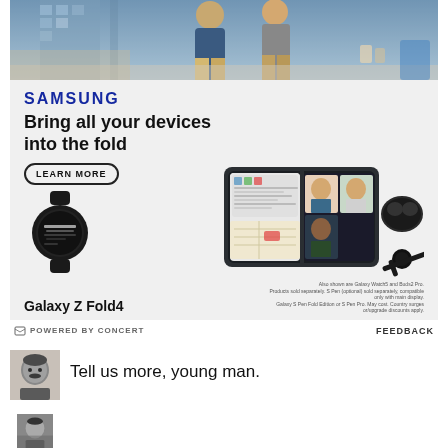[Figure (photo): Samsung advertisement top banner showing two people standing in a public space]
[Figure (screenshot): Samsung Galaxy Z Fold4 advertisement with headline 'Bring all your devices into the fold', LEARN MORE button, and product images of Galaxy Watch, Galaxy Z Fold4 open showing video call, buds case, and S Pen]
POWERED BY CONCERT   FEEDBACK
[Figure (photo): Avatar/profile photo of a man with mustache in black and white]
Tell us more, young man.
[Figure (photo): Second avatar/profile photo partially visible at bottom]